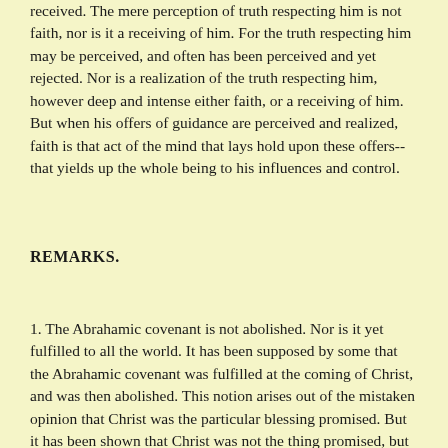received. The mere perception of truth respecting him is not faith, nor is it a receiving of him. For the truth respecting him may be perceived, and often has been perceived and yet rejected. Nor is a realization of the truth respecting him, however deep and intense either faith, or a receiving of him. But when his offers of guidance are perceived and realized, faith is that act of the mind that lays hold upon these offers--that yields up the whole being to his influences and control.
REMARKS.
1. The Abrahamic covenant is not abolished. Nor is it yet fulfilled to all the world. It has been supposed by some that the Abrahamic covenant was fulfilled at the coming of Christ, and was then abolished. This notion arises out of the mistaken opinion that Christ was the particular blessing promised. But it has been shown that Christ was not the thing promised, but that the promise was made to him, and through him to all the nations of the earth. This covenant then is not abrogated nor set aside, nor can it be till all the nations